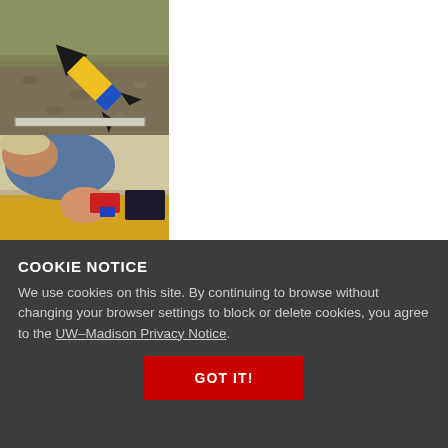[Figure (photo): A small model rocket with yellow body and black fins lying on gravel/grass ground, with a ruler visible below it]
[Figure (photo): A person leaning over a workbench, working with electronics/components on a yellow surface, appears to be assembling or soldering something]
COOKIE NOTICE
We use cookies on this site. By continuing to browse without changing your browser settings to block or delete cookies, you agree to the UW–Madison Privacy Notice.
GOT IT!